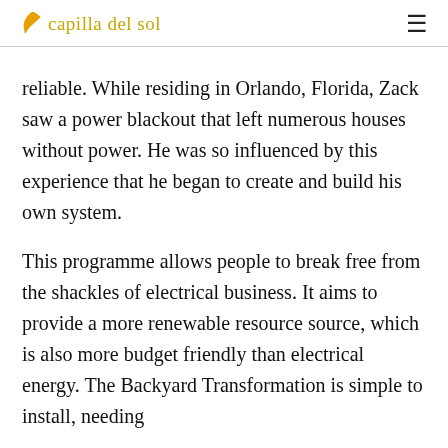capilla del sol
reliable. While residing in Orlando, Florida, Zack saw a power blackout that left numerous houses without power. He was so influenced by this experience that he began to create and build his own system.
This programme allows people to break free from the shackles of electrical business. It aims to provide a more renewable resource source, which is also more budget friendly than electrical energy. The Backyard Transformation is simple to install, needing